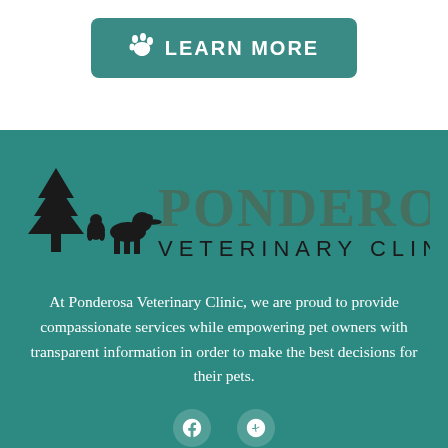[Figure (other): LEARN MORE button with paw print icon on white background]
[Figure (logo): Ponderosa Veterinary Clinic logo with pine tree and dog silhouettes on teal background]
At Ponderosa Veterinary Clinic, we are proud to provide compassionate services while empowering pet owners with transparent information in order to make the best decisions for their pets.
[Figure (other): Facebook and Yelp social media icons]